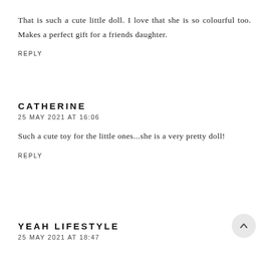That is such a cute little doll. I love that she is so colourful too. Makes a perfect gift for a friends daughter.
REPLY
CATHERINE
25 MAY 2021 AT 16:06
Such a cute toy for the little ones...she is a very pretty doll!
REPLY
YEAH LIFESTYLE
25 MAY 2021 AT 18:47